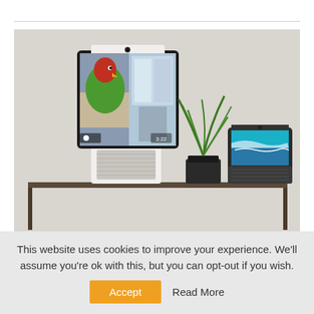[Figure (photo): Two Facebook Portal smart display devices on a shelf. The larger Portal on the left shows a video call with a parrot (green and red) visible on screen with timestamp 3:22. A green plant in a black pot is in the middle. A smaller Portal device on the right shows a beach/surfing scene. The shelf is dark metal against a light grey wall.]
This website uses cookies to improve your experience. We'll assume you're ok with this, but you can opt-out if you wish.
Accept
Read More